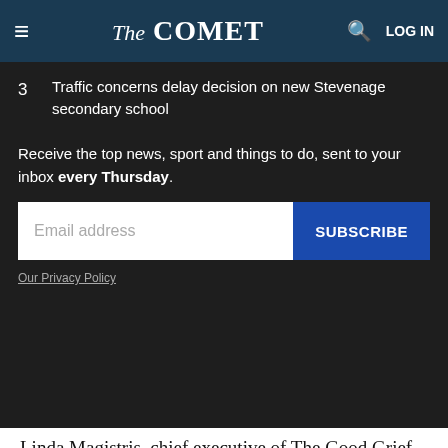The COMET
3  Traffic concerns delay decision on new Stevenage secondary school
Receive the top news, sport and things to do, sent to your inbox every Thursday.
Email address  SUBSCRIBE
Our Privacy Policy
Linda Magistris, chief executive of The Good Grief Trust, has written the foreword to the book and said: "Julie has written this insightful and heartfelt book from a powerful place. We often lose sight of ourselves